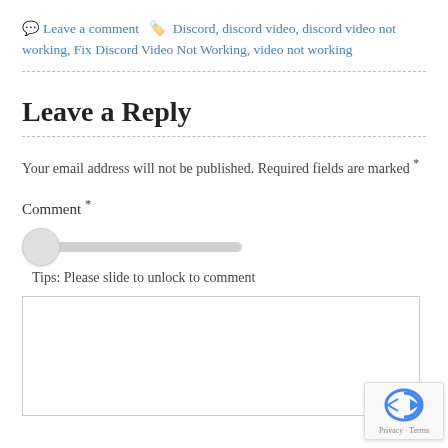Leave a comment  Discord, discord video, discord video not working, Fix Discord Video Not Working, video not working
Leave a Reply
Your email address will not be published. Required fields are marked *
Comment *
Tips: Please slide to unlock to comment
[Figure (screenshot): Comment text area input box, empty]